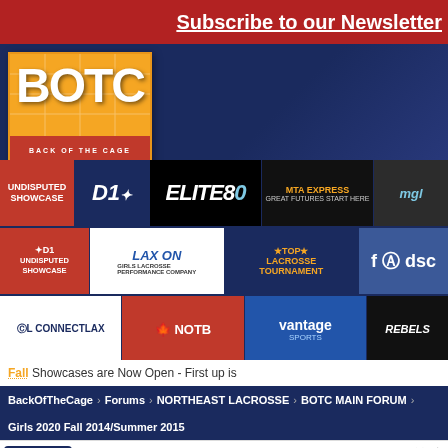Subscribe to our Newsletter
[Figure (logo): Back of the Cage (BOTC) sports lacrosse logo in orange and blue]
[Figure (infographic): Grid of sponsor logos including Undisputed Showcase, D1, Elite80, Express, MGL, Lax On Girls Lacrosse Performance Company, Top Lacrosse Tournament, ConnectLax, NOTB, Vantage Sports, Rebels Lacrosse, and social media links]
Fall Showcases are Now Open - First up is
BackOfTheCage > Forums > NORTHEAST LACROSSE > BOTC MAIN FORUM > Girls 2020 Fall 2014/Summer 2015
[Figure (screenshot): NFL Shop advertisement: Free shipping on orders over $25, www.nflshop.com]